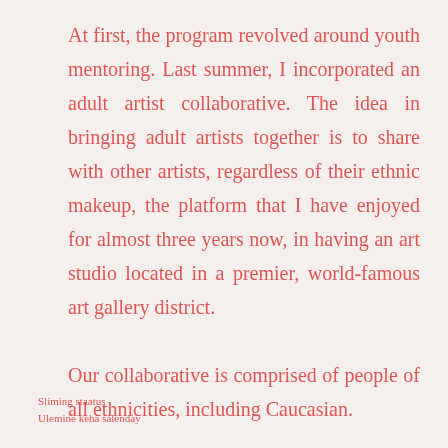At first, the program revolved around youth mentoring. Last summer, I incorporated an adult artist collaborative. The idea in bringing adult artists together is to share with other artists, regardless of their ethnic makeup, the platform that I have enjoyed for almost three years now, in having an art studio located in a premier, world-famous art gallery district.

Our collaborative is comprised of people of all ethnicities, including Caucasian.
Sliming staatus
Ulemine keha salenday